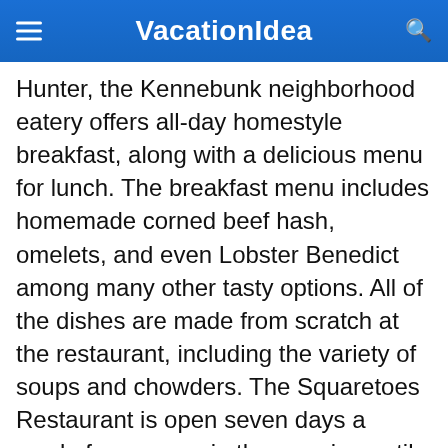VacationIdea
Hunter, the Kennebunk neighborhood eatery offers all-day homestyle breakfast, along with a delicious menu for lunch. The breakfast menu includes homemade corned beef hash, omelets, and even Lobster Benedict among many other tasty options. All of the dishes are made from scratch at the restaurant, including the variety of soups and chowders. The Squaretoes Restaurant is open seven days a week, from seven in the morning until two in the afternoon.
29 York St, Kennebunk, ME 04043; Phone: 207